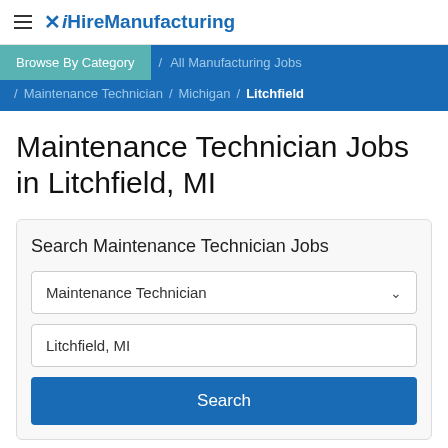iHireManufacturing
Browse By Category / All Manufacturing Jobs / Maintenance Technician / Michigan / Litchfield
Maintenance Technician Jobs in Litchfield, MI
Search Maintenance Technician Jobs
Maintenance Technician
Litchfield, MI
Search